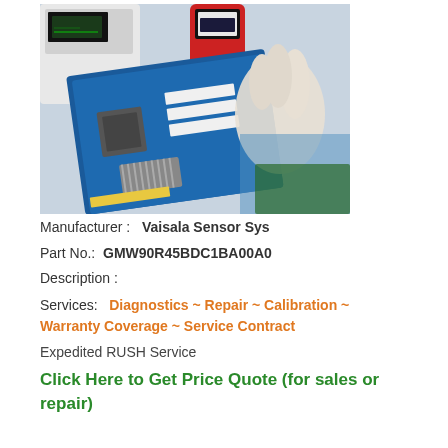[Figure (photo): Technician in white gloves holding a blue circuit board/motherboard with electronic testing equipment in the background]
Manufacturer :   Vaisala Sensor Sys
Part No.:   GMW90R45BDC1BA00A0
Description :
Services:   Diagnostics ~ Repair ~ Calibration ~ Warranty Coverage ~ Service Contract
Expedited RUSH Service
Click Here to Get Price Quote (for sales or repair)